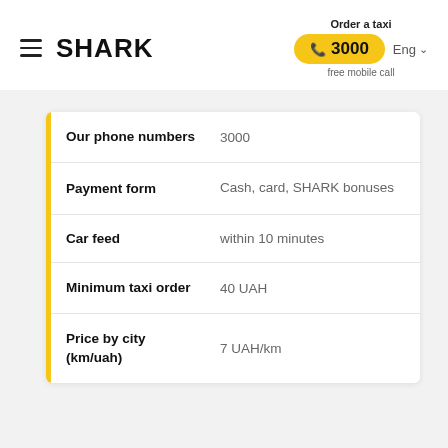SHARK
Order a taxi
📞 3000
free mobile call
Eng
|  |  |
| --- | --- |
| Our phone numbers | 3000 |
| Payment form | Cash, card, SHARK bonuses |
| Car feed | within 10 minutes |
| Minimum taxi order | 40 UAH |
| Price by city (km/uah) | 7 UAH/km |